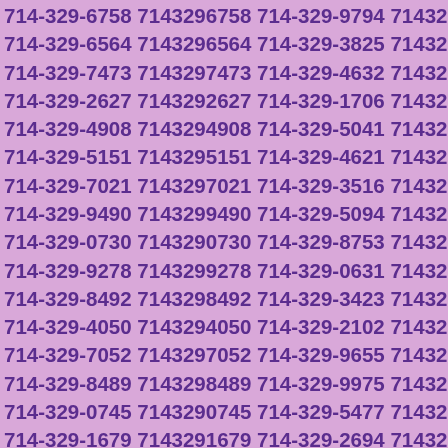714-329-6758 7143296758 714-329-9794 7143299794
714-329-6564 7143296564 714-329-3825 7143293825
714-329-7473 7143297473 714-329-4632 7143294632
714-329-2627 7143292627 714-329-1706 7143291706
714-329-4908 7143294908 714-329-5041 7143295041
714-329-5151 7143295151 714-329-4621 7143294621
714-329-7021 7143297021 714-329-3516 7143293516
714-329-9490 7143299490 714-329-5094 7143295094
714-329-0730 7143290730 714-329-8753 7143298753
714-329-9278 7143299278 714-329-0631 7143290631
714-329-8492 7143298492 714-329-3423 7143293423
714-329-4050 7143294050 714-329-2102 7143292102
714-329-7052 7143297052 714-329-9655 7143299655
714-329-8489 7143298489 714-329-9975 7143299975
714-329-0745 7143290745 714-329-5477 7143295477
714-329-1679 7143291679 714-329-2694 7143292694
714-329-9309 7143299309 714-329-3086 7143293086
714-329-4056 7143294056 714-329-6055 7143296055
714-329-4201 7143294201 714-329-3707 7143293707
714-329-9101 7143299101 714-329-5456 7143295456
714-329-0639 7143290639 714-329-7338 7143297338